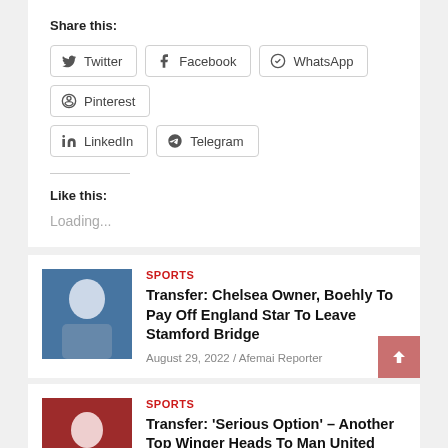Share this:
Twitter
Facebook
WhatsApp
Pinterest
LinkedIn
Telegram
Like this:
Loading...
SPORTS
Transfer: Chelsea Owner, Boehly To Pay Off England Star To Leave Stamford Bridge
August 29, 2022 / Afemai Reporter
SPORTS
Transfer: 'Serious Option' – Another Top Winger Heads To Man United